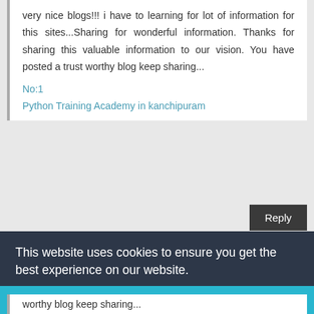very nice blogs!!! i have to learning for lot of information for this sites...Sharing for wonderful information. Thanks for sharing this valuable information to our vision. You have posted a trust worthy blog keep sharing...
No:1
Python Training Academy in kanchipuram
[Figure (other): Reply button (dark background)]
[Figure (other): Orange Blogger user icon circle]
This website uses cookies to ensure you get the best experience on our website.
Learn more
Got it!
worthy blog keep sharing...